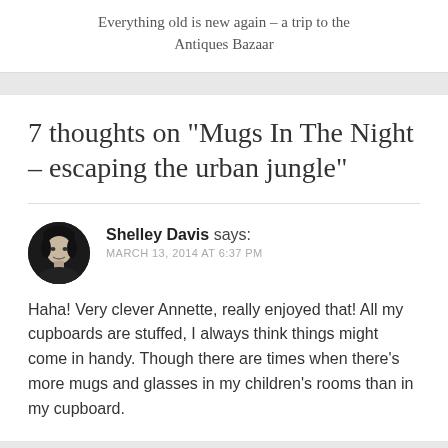Everything old is new again – a trip to the Antiques Bazaar
7 thoughts on “Mugs In The Night – escaping the urban jungle”
Shelley Davis says: MARCH 13, 2014 AT 6:37 PM
Haha! Very clever Annette, really enjoyed that! All my cupboards are stuffed, I always think things might come in handy. Though there are times when there’s more mugs and glasses in my children’s rooms than in my cupboard.